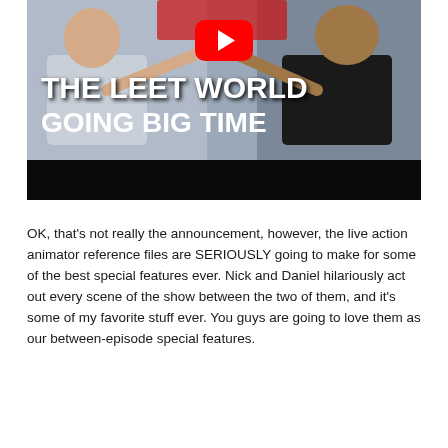[Figure (screenshot): YouTube video thumbnail showing two men pointing at camera with text overlay 'THE LEET WORLD GOING BIG TIME' and YouTube play button icon]
OK, that's not really the announcement, however, the live action animator reference files are SERIOUSLY going to make for some of the best special features ever. Nick and Daniel hilariously act out every scene of the show between the two of them, and it's some of my favorite stuff ever. You guys are going to love them as our between-episode special features.